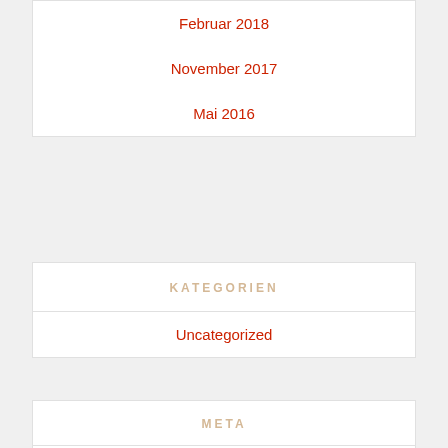Februar 2018
November 2017
Mai 2016
KATEGORIEN
Uncategorized
META
Anmelden
Feed der Einträge
Kommentare-Feed
WordPress.org